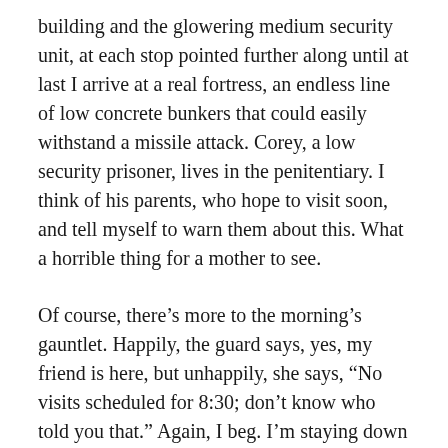building and the glowering medium security unit, at each stop pointed further along until at last I arrive at a real fortress, an endless line of low concrete bunkers that could easily withstand a missile attack. Corey, a low security prisoner, lives in the penitentiary. I think of his parents, who hope to visit soon, and tell myself to warn them about this. What a horrible thing for a mother to see.
Of course, there's more to the morning's gauntlet. Happily, the guard says, yes, my friend is here, but unhappily, she says, “No visits scheduled for 8:30; don’t know who told you that.” Again, I beg. I’m staying down in Vicksburg, it’s been so long, etc. She softens, a little. Says, “Go sit in your car. See what I can do.”  Fair enough. It’s 10 am before they let me into the visitor’s room, the guard saying no way can I come back after lunch for the